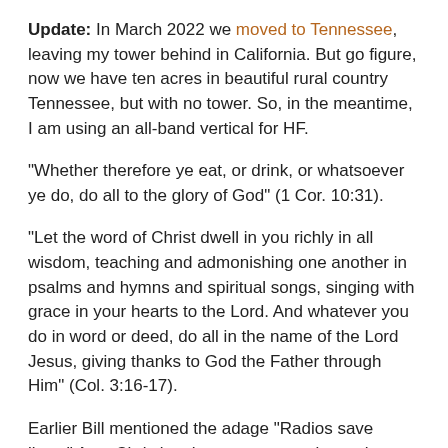Update: In March 2022 we moved to Tennessee, leaving my tower behind in California. But go figure, now we have ten acres in beautiful rural country Tennessee, but with no tower. So, in the meantime, I am using an all-band vertical for HF.
"Whether therefore ye eat, or drink, or whatsoever ye do, do all to the glory of God" (1 Cor. 10:31).
"Let the word of Christ dwell in you richly in all wisdom, teaching and admonishing one another in psalms and hymns and spiritual songs, singing with grace in your hearts to the Lord. And whatever you do in word or deed, do all in the name of the Lord Jesus, giving thanks to God the Father through Him" (Col. 3:16-17).
Earlier Bill mentioned the adage "Radios save lives." As a Christian, he wants you to know that "Jesus saves souls!" To know more about that, read his Gospel tract here or below.